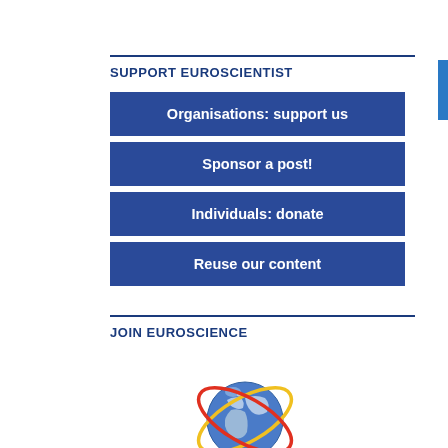SUPPORT EUROSCIENTIST
Organisations: support us
Sponsor a post!
Individuals: donate
Reuse our content
JOIN EUROSCIENCE
[Figure (logo): EuroScience globe logo with yellow and red orbital rings around a blue Earth]